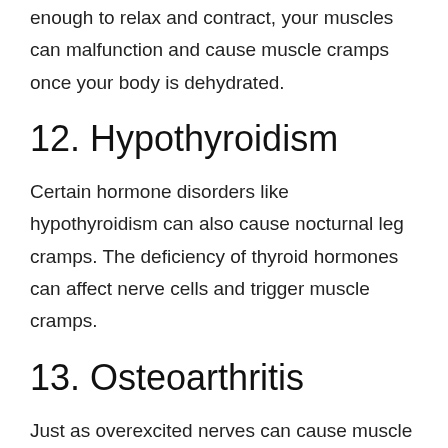enough to relax and contract, your muscles can malfunction and cause muscle cramps once your body is dehydrated.
12. Hypothyroidism
Certain hormone disorders like hypothyroidism can also cause nocturnal leg cramps. The deficiency of thyroid hormones can affect nerve cells and trigger muscle cramps.
13. Osteoarthritis
Just as overexcited nerves can cause muscle cramps on the legs, nerves can also cause cramping for other reasons. The most common form of arthritis...